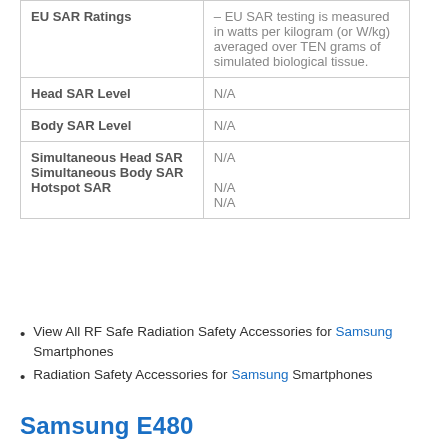|  |  |
| --- | --- |
| EU SAR Ratings | – EU SAR testing is measured in watts per kilogram (or W/kg) averaged over TEN grams of simulated biological tissue. |
| Head SAR Level | N/A |
| Body SAR Level | N/A |
| Simultaneous Head SAR | N/A |
| Simultaneous Body SAR | N/A |
| Hotspot SAR | N/A |
View All RF Safe Radiation Safety Accessories for Samsung Smartphones
Radiation Safety Accessories for Samsung Smartphones
Samsung E480